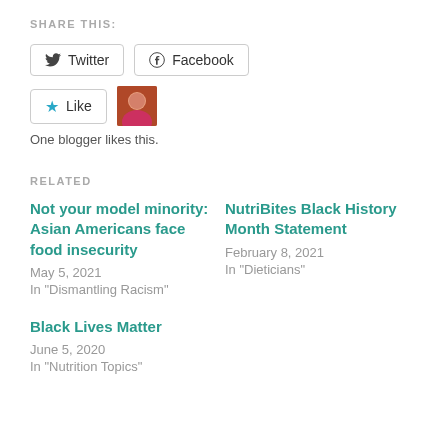SHARE THIS:
Twitter  Facebook
★ Like  [avatar image]
One blogger likes this.
RELATED
Not your model minority: Asian Americans face food insecurity
May 5, 2021
In "Dismantling Racism"
NutriBites Black History Month Statement
February 8, 2021
In "Dieticians"
Black Lives Matter
June 5, 2020
In "Nutrition Topics"